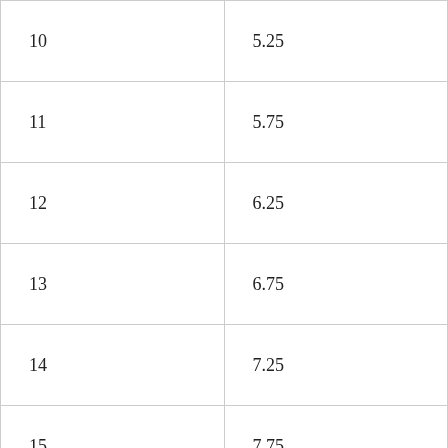| 10 | 5.25 |
| 11 | 5.75 |
| 12 | 6.25 |
| 13 | 6.75 |
| 14 | 7.25 |
| 15 | 7.75 |
| 16 | 8.25 |
| 17 | 8.75 |
| 18 | 9.25 |